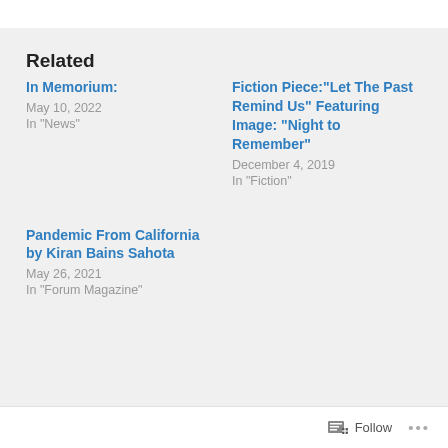Related
In Memorium:
May 10, 2022
In "News"
Fiction Piece:“Let The Past Remind Us” Featuring Image: “Night to Remember”
December 4, 2019
In "Fiction"
Pandemic From California by Kiran Bains Sahota
May 26, 2021
In "Forum Magazine"
Follow ...